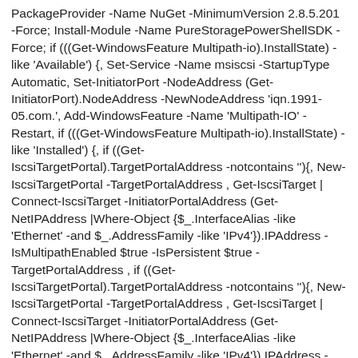PackageProvider -Name NuGet -MinimumVersion 2.8.5.201 -Force; Install-Module -Name PureStoragePowerShellSDK -Force; if (((Get-WindowsFeature Multipath-io).InstallState) -like 'Available') {, Set-Service -Name msiscsi -StartupType Automatic, Set-InitiatorPort -NodeAddress (Get-InitiatorPort).NodeAddress -NewNodeAddress 'iqn.1991-05.com.', Add-WindowsFeature -Name 'Multipath-IO' -Restart, if (((Get-WindowsFeature Multipath-io).InstallState) -like 'Installed') {, if ((Get-IscsiTargetPortal).TargetPortalAddress -notcontains ''){, New-IscsiTargetPortal -TargetPortalAddress , Get-IscsiTarget | Connect-IscsiTarget -InitiatorPortalAddress (Get-NetIPAddress |Where-Object {$_.InterfaceAlias -like 'Ethernet' -and $_.AddressFamily -like 'IPv4'}).IPAddress -IsMultipathEnabled $true -IsPersistent $true -TargetPortalAddress , if ((Get-IscsiTargetPortal).TargetPortalAddress -notcontains ''){, New-IscsiTargetPortal -TargetPortalAddress , Get-IscsiTarget | Connect-IscsiTarget -InitiatorPortalAddress (Get-NetIPAddress |Where-Object {$_.InterfaceAlias -like 'Ethernet' -and $_.AddressFamily -like 'IPv4'}).IPAddress -IsMultipathEnabled $true -IsPersistent $true -